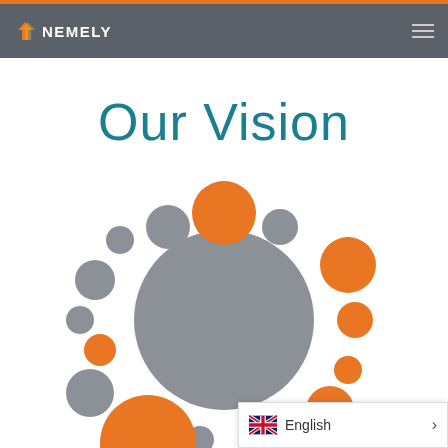NEMELY
Our Vision
[Figure (illustration): Decorative bubble/circle diagram with large central grey circle surrounded by smaller grey and orange circles of varying sizes arranged in a circular pattern, suggesting an orbit or solar system motif.]
English